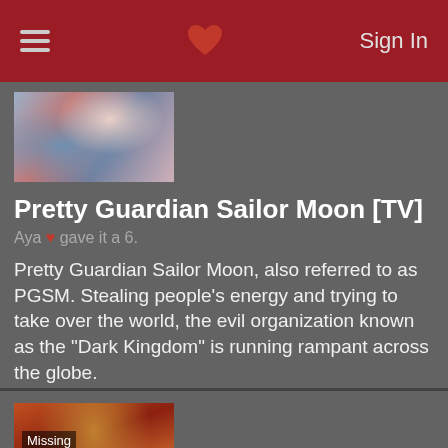Sign In
[Figure (photo): Anime screenshot thumbnail for Pretty Guardian Sailor Moon]
Pretty Guardian Sailor Moon [TV]
Aya ♥ gave it a 6.
Pretty Guardian Sailor Moon, also referred to as PGSM. Stealing people's energy and trying to take over the world, the evil organization known as the "Dark Kingdom" is running rampant across the globe.
811 users added this.
[Figure (photo): Anime screenshot thumbnail with Missing Picture overlay text]